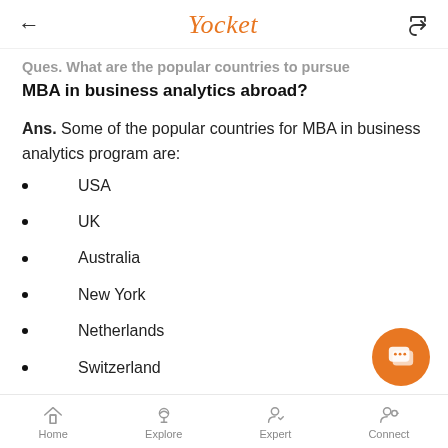Yocket
Ques. What are the popular countries to pursue MBA in business analytics abroad?
Ans. Some of the popular countries for MBA in business analytics program are:
USA
UK
Australia
New York
Netherlands
Switzerland
Home  Explore  Expert  Connect